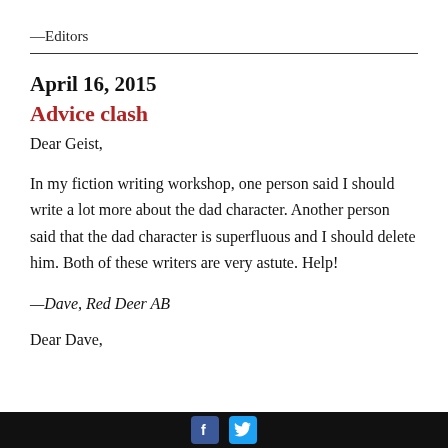—Editors
April 16, 2015
Advice clash
Dear Geist,
In my fiction writing workshop, one person said I should write a lot more about the dad character. Another person said that the dad character is superfluous and I should delete him. Both of these writers are very astute. Help!
—Dave, Red Deer AB
Dear Dave,